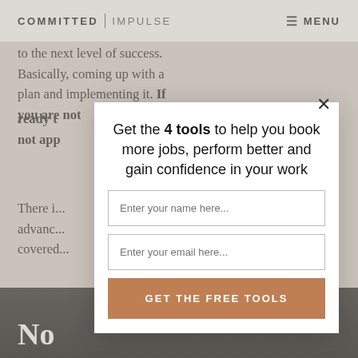COMMITTED | IMPULSE   MENU
to the next level of success. Basically, coming up with a plan and implementing it. If you are not ready t... not app...
There i... advanc... covered...
[Figure (screenshot): Modal popup overlay on a webpage with headline, two input fields, and a CTA button]
Get the 4 tools to help you book more jobs, perform better and gain confidence in your work
Enter your name here...
Enter your email here...
GET THE FREE TOOLS